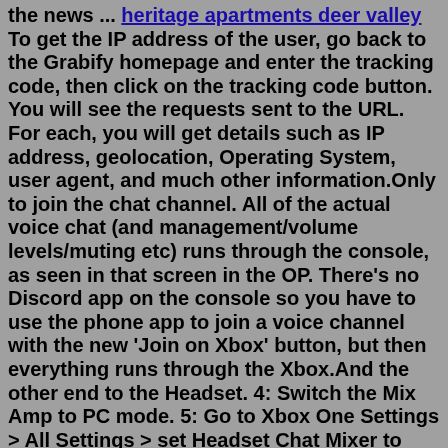the news ... heritage apartments deer valley To get the IP address of the user, go back to the Grabify homepage and enter the tracking code, then click on the tracking code button. You will see the requests sent to the URL. For each, you will get details such as IP address, geolocation, Operating System, user agent, and much other information.Only to join the chat channel. All of the actual voice chat (and management/volume levels/muting etc) runs through the console, as seen in that screen in the OP. There's no Discord app on the console so you have to use the phone app to join a voice channel with the new 'Join on Xbox' button, but then everything runs through the Xbox.And the other end to the Headset. 4: Switch the Mix Amp to PC mode. 5: Go to Xbox One Settings > All Settings > set Headset Chat Mixer to Chat Only and then set Mic Monitoring to Minimum. 6: Again, open your Xbox One Settings > All Settings > Display And Sound > Audio Output > set Bitstream Format to Dolby Digital.Xbox Support offers help for Xbox, Game Pass, and billing questions. Get advice and